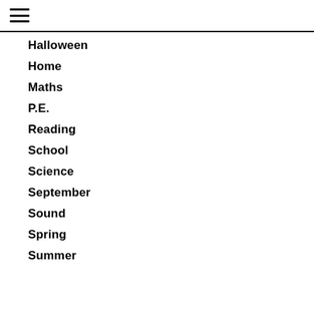Halloween
Home
Maths
P.E.
Reading
School
Science
September
Sound
Spring
Summer